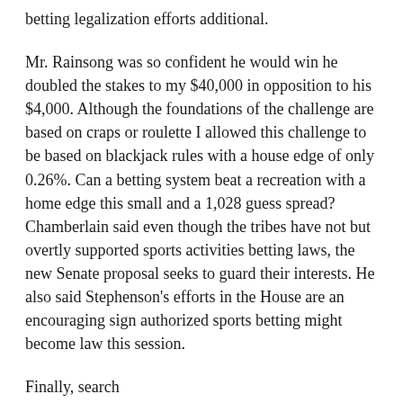betting legalization efforts additional.
Mr. Rainsong was so confident he would win he doubled the stakes to my $40,000 in opposition to his $4,000. Although the foundations of the challenge are based on craps or roulette I allowed this challenge to be based on blackjack rules with a house edge of only 0.26%. Can a betting system beat a recreation with a home edge this small and a 1,028 guess spread? Chamberlain said even though the tribes have not but overtly supported sports activities betting laws, the new Senate proposal seeks to guard their interests. He also said Stephenson's efforts in the House are an encouraging sign authorized sports betting might become law this session.
Finally, search https://www.thairath.co.th/search/pptv36online⁣UFA09.NET⁣⁣⁣⁣500⁣⁣600⁣LINEID:@UFA09⁣ for the box to enter your bonus code, in case you have one. Faro, at one time the principal playing sport within the United States, has become obsolete. Super Bowl LVI shall